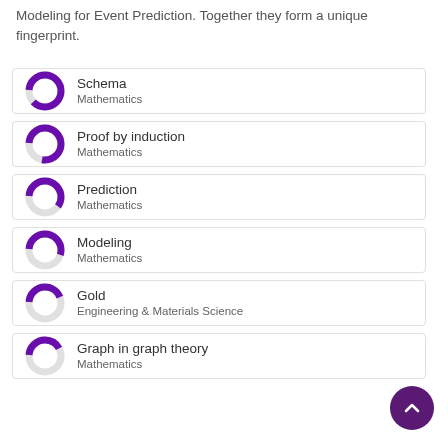Modeling for Event Prediction. Together they form a unique fingerprint.
[Figure (donut-chart): Donut chart for Schema - Mathematics, mostly filled purple]
Schema
Mathematics
[Figure (donut-chart): Donut chart for Proof by induction - Mathematics, mostly filled purple]
Proof by induction
Mathematics
[Figure (donut-chart): Donut chart for Prediction - Mathematics, half filled purple]
Prediction
Mathematics
[Figure (donut-chart): Donut chart for Modeling - Mathematics, about half filled purple]
Modeling
Mathematics
[Figure (donut-chart): Donut chart for Gold - Engineering & Materials Science, about 40% filled purple]
Gold
Engineering & Materials Science
[Figure (donut-chart): Donut chart for Graph in graph theory - Mathematics, about 40% filled purple]
Graph in graph theory
Mathematics